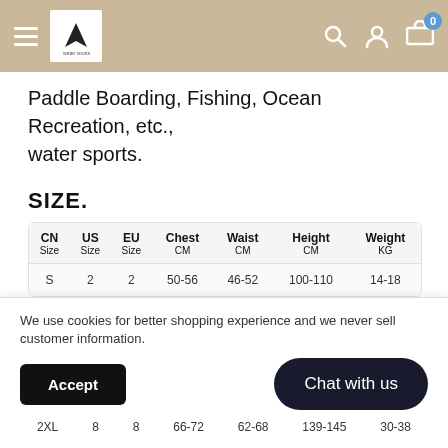Navigation header with hamburger menu, logo, search, account, and cart icons
Paddle Boarding, Fishing, Ocean Recreation, etc., water sports.
SIZE.
| CN Size | US Size | EU Size | Chest CM | Waist CM | Height CM | Weight KG |
| --- | --- | --- | --- | --- | --- | --- |
| S | 2 | 2 | 50-56 | 46-52 | 100-110 | 14-18 |
We use cookies for better shopping experience and we never sell customer information.
2XL  8  8  66-72  62-68  139-145  30-38